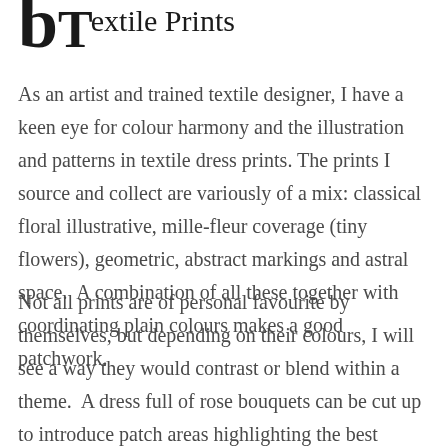Textile Prints
As an artist and trained textile designer, I have a keen eye for colour harmony and the illustration and patterns in textile dress prints. The prints I source and collect are variously of a mix: classical floral illustrative, mille-fleur coverage (tiny flowers), geometric, abstract markings and astral space.  A combination of all these together with coordinating plain colours makes a good patchwork.
Not all prints are of personal favourite by themselves, but depending on their colours, I will see a way they would contrast or blend within a theme.  A dress full of rose bouquets can be cut up to introduce patch areas highlighting the best flowers.  A smaller piece of fabric can become more